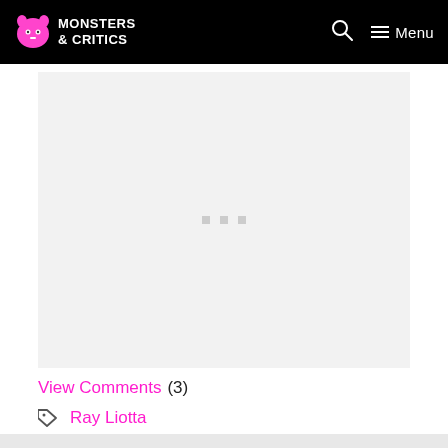Monsters & Critics — Menu
[Figure (other): Advertisement placeholder area with light gray background and three small gray dots in center]
View Comments (3)
Ray Liotta